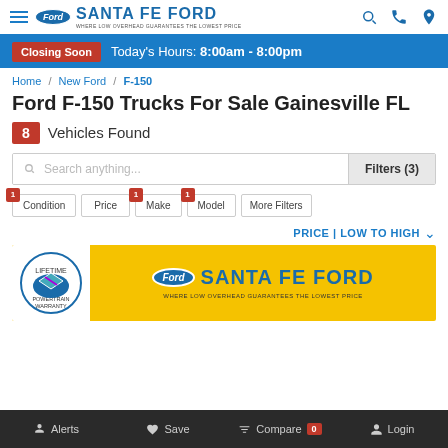Santa Fe Ford — WHERE LOW OVERHEAD GUARANTEES THE LOWEST PRICE
Closing Soon  Today's Hours: 8:00am - 8:00pm
Home / New Ford / F-150
Ford F-150 Trucks For Sale Gainesville FL
8 Vehicles Found
Search anything...  Filters (3)
1 Condition  Price  1 Make  1 Model  More Filters
PRICE | LOW TO HIGH
[Figure (logo): Santa Fe Ford dealer banner with yellow background, Lifetime Powertrain Warranty badge, Ford oval logo, and dealer name]
Alerts  Save  Compare 0  Login